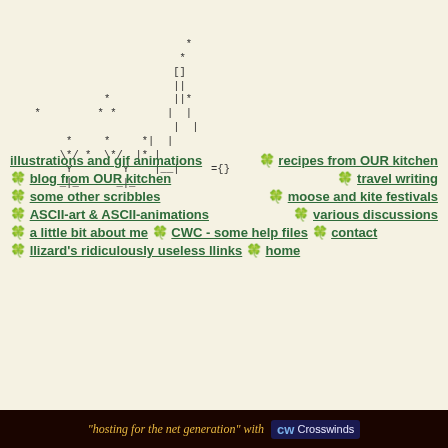[Figure (illustration): ASCII art showing stick figures, trees, and symbols: ejm, Y, Y figures with asterisks, and ={} symbol]
illustrations and gif animations
recipes from OUR kitchen
blog from OUR kitchen
travel writing
some other scribbles
moose and kite festivals
ASCII-art & ASCII-animations
various discussions
a little bit about me
CWC - some help files
contact
llizard's ridiculously useless llinks
home
"hosting for the net generation" with Crosswinds